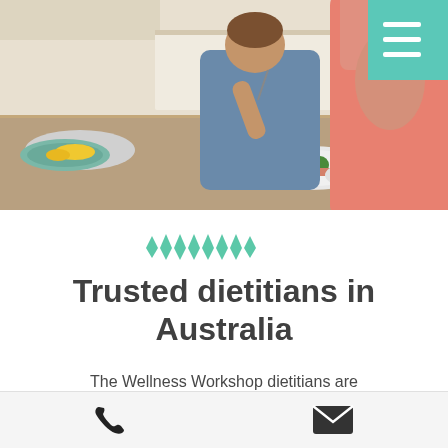[Figure (photo): Two women sitting at a kitchen counter eating a meal with vegetables and glasses of water. One woman in a pink/salmon top is seen from behind, the other in a denim shirt is eating broccoli.]
[Figure (infographic): Teal decorative wave/chevron divider graphic]
Trusted dietitians in Australia
The Wellness Workshop dietitians are Health At Every Size, compassionate,
[Figure (other): Bottom navigation bar with phone icon and email/envelope icon on a light gray background]